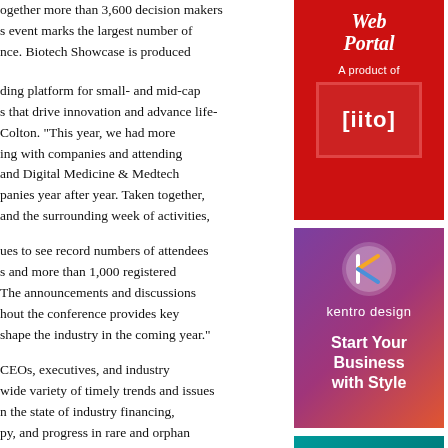ogether more than 3,600 decision makers s event marks the largest number of nce. Biotech Showcase is produced
ding platform for small- and mid-cap s that drive innovation and advance life- Colton. “This year, we had more ing with companies and attending and Digital Medicine & Medtech panies year after year. Taken together, and the surrounding week of activities,
ues to see record numbers of attendees s and more than 1,000 registered The announcements and discussions hout the conference provides key shape the industry in the coming year.”
CEOs, executives, and industry wide variety of timely trends and issues n the state of industry financing, py, and progress in rare and orphan
[Figure (logo): iito Web Portal advertisement - red background with italic bold 'Portal' text and iito logo in red box]
[Figure (logo): Kentro Design advertisement - purple/magenta gradient background with K logo, 'kentro design' text, and 'Start Your Business with Style' tagline]
[Figure (photo): Teal/cyan colored advertisement, partially visible at bottom]